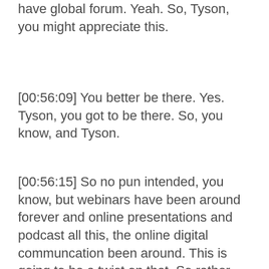have global forum. Yeah. So, Tyson, you might appreciate this.
[00:56:09] You better be there. Yes. Tyson, you got to be there. So, you know, and Tyson.
[00:56:15] So no pun intended, you know, but webinars have been around forever and online presentations and podcast all this, the online digital communcation been around. This is going to be a twist on that. So rather than folks signing up to hear Gregg not picking on